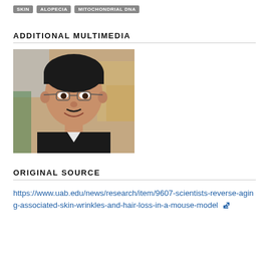SKIN
ALOPECIA
MITOCHONDRIAL DNA
ADDITIONAL MULTIMEDIA
[Figure (photo): Portrait photo of a middle-aged man with dark hair and glasses, wearing a dark suit, smiling, with laboratory equipment visible in background.]
ORIGINAL SOURCE
https://www.uab.edu/news/research/item/9607-scientists-reverse-aging-associated-skin-wrinkles-and-hair-loss-in-a-mouse-model